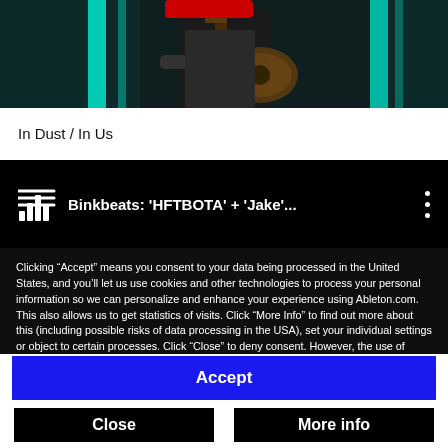[Figure (photo): Person playing guitar on a dark stage with teal/cyan colored lighting elements in the background. A partial red element is visible at the top. The image is cropped showing mainly the guitar and performer's torso.]
In Dust / In Us
[Figure (screenshot): YouTube/video player bar showing playlist icon, title 'Binkbeats: HFTBOTA + Jake...' and a three-dot menu icon on a black background.]
Clicking “Accept” means you consent to your data being processed in the United States, and you’ll let us use cookies and other technologies to process your personal information so we can personalize and enhance your experience using Ableton.com. This also allows us to get statistics of visits. Click “More Info” to find out more about this (including possible risks of data processing in the USA), set your individual settings or object to certain processes. Click “Close” to deny consent. However, the use of technically required cookies is essential for the website to function.
Accept
Close
More info